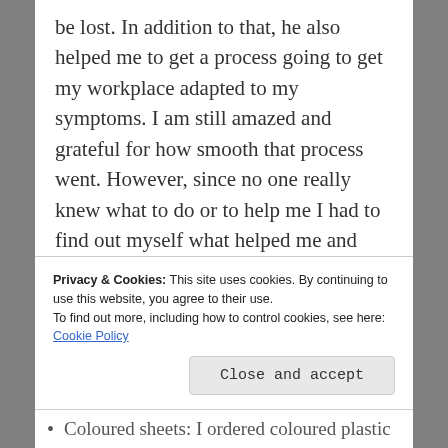be lost. In addition to that, he also helped me to get a process going to get my workplace adapted to my symptoms. I am still amazed and grateful for how smooth that process went. However, since no one really knew what to do or to help me I had to find out myself what helped me and whatnot. I have to say that my workplace supported me incredibly much.

*I've talked so much about work and my PhD! However, I also wanted to point out that I am an avid gamer and was really worried about a
Privacy & Cookies: This site uses cookies. By continuing to use this website, you agree to their use.
To find out more, including how to control cookies, see here: Cookie Policy
Close and accept
Coloured sheets: I ordered coloured plastic